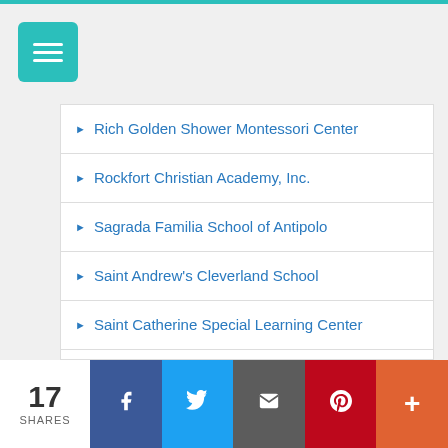Menu
Rich Golden Shower Montessori Center
Rockfort Christian Academy, Inc.
Sagrada Familia School of Antipolo
Saint Andrew's Cleverland School
Saint Catherine Special Learning Center
Saint Clare Montessori School & Science High School
Saint James Comm. School
Saint John Mary Vianney Academy of Antipolo
Saint John's Wort Montessori School
Saint Therese Developmental Center
17 SHARES